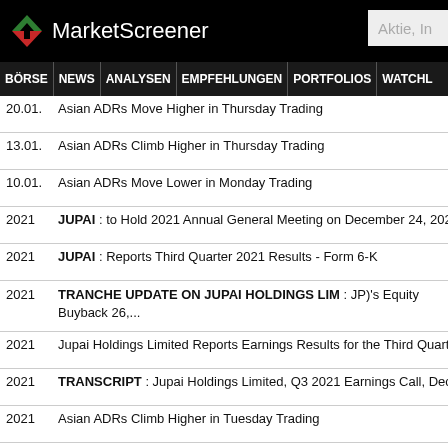MarketScreener
BÖRSE NEWS ANALYSEN EMPFEHLUNGEN PORTFOLIOS WATCHL
20.01. Asian ADRs Move Higher in Thursday Trading
13.01. Asian ADRs Climb Higher in Thursday Trading
10.01. Asian ADRs Move Lower in Monday Trading
2021 JUPAI : to Hold 2021 Annual General Meeting on December 24, 2021 - F
2021 JUPAI : Reports Third Quarter 2021 Results - Form 6-K
2021 TRANCHE UPDATE ON JUPAI HOLDINGS LIM : JP)'s Equity Buyback 26,...
2021 Jupai Holdings Limited Reports Earnings Results for the Third Quarter an
2021 TRANSCRIPT : Jupai Holdings Limited, Q3 2021 Earnings Call, Dec 13,
2021 Asian ADRs Climb Higher in Tuesday Trading
2021 JUPAI : to Report Third Quarter 2021 Financial Results on December 13
2021 Asian ADRs Move Lower in Tuesday Trading
2021 Analysis-China's real estate woes sap property investment products
2021 Asian ADRs Flat in Friday Trading
2021 Asian ADRs Nudge Higher in Wednesday Trading